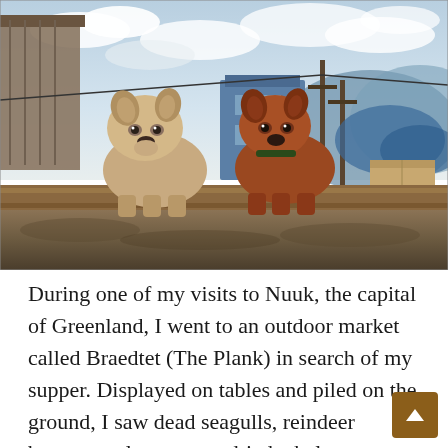[Figure (photo): Two sled dogs (one beige/white, one reddish-brown) standing on a wooden ledge in Nuuk, Greenland, with a blue wooden building, utility poles, and a blue mountain or rock formation visible in the background under a cloudy sky.]
During one of my visits to Nuuk, the capital of Greenland, I went to an outdoor market called Braedtet (The Plank) in search of my supper. Displayed on tables and piled on the ground, I saw dead seagulls, reindeer breasts, walrus aortas, dried whale meat, mikiaq (decaying seal